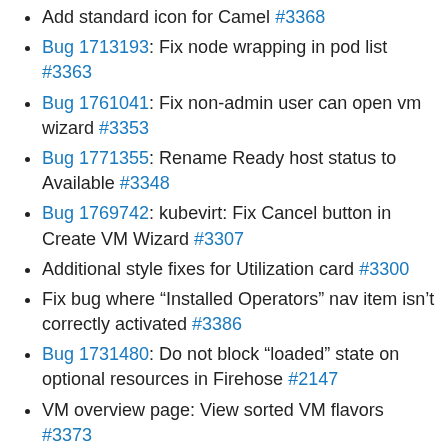Add standard icon for Camel #3368
Bug 1713193: Fix node wrapping in pod list #3363
Bug 1761041: Fix non-admin user can open vm wizard #3353
Bug 1771355: Rename Ready host status to Available #3348
Bug 1769742: kubevirt: Fix Cancel button in Create VM Wizard #3307
Additional style fixes for Utilization card #3300
Fix bug where “Installed Operators” nav item isn’t correctly activated #3386
Bug 1731480: Do not block “loaded” state on optional resources in Firehose #2147
VM overview page: View sorted VM flavors #3373
fix vscode prettier integration #3387
add delete action for new knative resources #3332
fetches application name for knative service #3234
tests: add additional retires to OLM scenarios #3384
Bug 1771726: Remove appendTo from